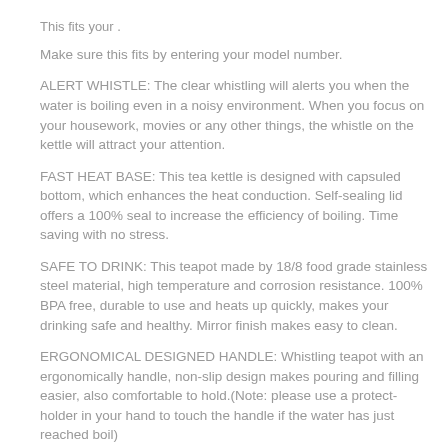This fits your .
Make sure this fits by entering your model number.
ALERT WHISTLE: The clear whistling will alerts you when the water is boiling even in a noisy environment. When you focus on your housework, movies or any other things, the whistle on the kettle will attract your attention.
FAST HEAT BASE: This tea kettle is designed with capsuled bottom, which enhances the heat conduction. Self-sealing lid offers a 100% seal to increase the efficiency of boiling. Time saving with no stress.
SAFE TO DRINK: This teapot made by 18/8 food grade stainless steel material, high temperature and corrosion resistance. 100% BPA free, durable to use and heats up quickly, makes your drinking safe and healthy. Mirror finish makes easy to clean.
ERGONOMICAL DESIGNED HANDLE: Whistling teapot with an ergonomically handle, non-slip design makes pouring and filling easier, also comfortable to hold.(Note: please use a protect-holder in your hand to touch the handle if the water has just reached boil)